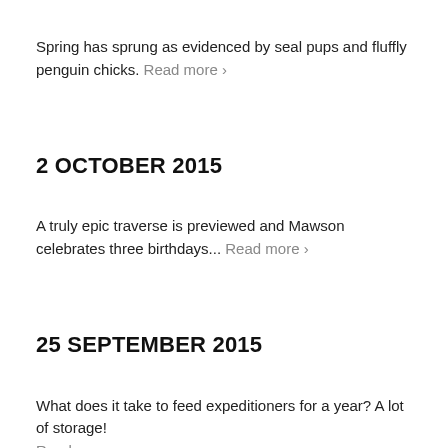Spring has sprung as evidenced by seal pups and fluffly penguin chicks. Read more ›
2 OCTOBER 2015
A truly epic traverse is previewed and Mawson celebrates three birthdays... Read more ›
25 SEPTEMBER 2015
What does it take to feed expeditioners for a year? A lot of storage! Read more ›